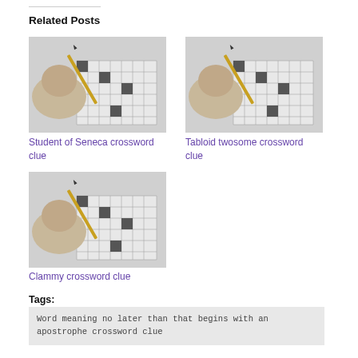Related Posts
[Figure (illustration): Hand holding a pencil over a crossword puzzle grid, pencil sketch style]
Student of Seneca crossword clue
[Figure (illustration): Hand holding a pencil over a crossword puzzle grid, pencil sketch style]
Tabloid twosome crossword clue
[Figure (illustration): Hand holding a pencil over a crossword puzzle grid, pencil sketch style]
Clammy crossword clue
Tags:
Word meaning no later than that begins with an apostrophe crossword clue